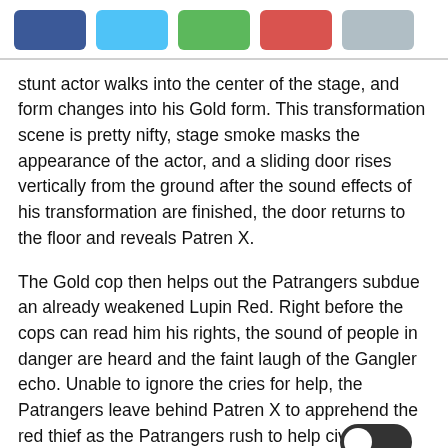[color buttons: blue, cyan, green, red, gray]
stunt actor walks into the center of the stage, and form changes into his Gold form. This transformation scene is pretty nifty, stage smoke masks the appearance of the actor, and a sliding door rises vertically from the ground after the sound effects of his transformation are finished, the door returns to the floor and reveals Patren X.
The Gold cop then helps out the Patrangers subdue an already weakened Lupin Red. Right before the cops can read him his rights, the sound of people in danger are heard and the faint laugh of the Gangler echo. Unable to ignore the cries for help, the Patrangers leave behind Patren X to apprehend the red thief as the Patrangers rush to help civilians.
We are then taken to a city background, where the